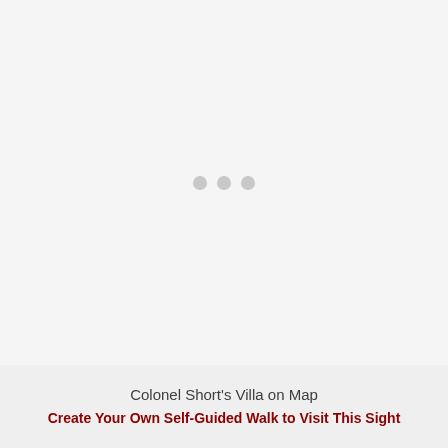[Figure (map): Map loading placeholder with three grey dots on a light grey background, indicating a map of Colonel Short's Villa is loading.]
Colonel Short's Villa on Map
Create Your Own Self-Guided Walk to Visit This Sight